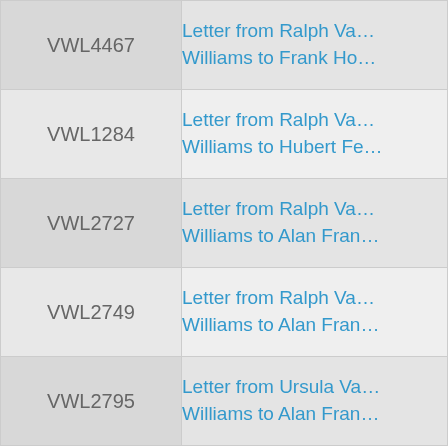| ID | Title |
| --- | --- |
| VWL4467 | Letter from Ralph Va… Williams to Frank Ho… |
| VWL1284 | Letter from Ralph Va… Williams to Hubert Fe… |
| VWL2727 | Letter from Ralph Va… Williams to Alan Fran… |
| VWL2749 | Letter from Ralph Va… Williams to Alan Fran… |
| VWL2795 | Letter from Ursula Va… Williams to Alan Fran… |